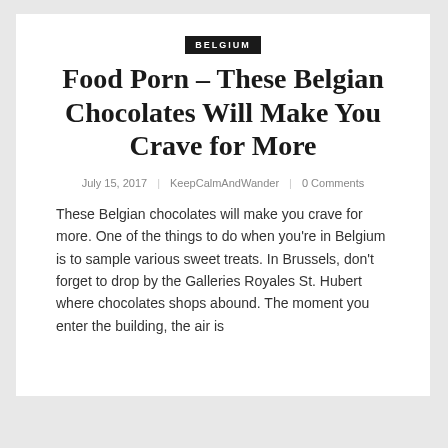BELGIUM
Food Porn – These Belgian Chocolates Will Make You Crave for More
July 15, 2017 | KeepCalmAndWander | 0 Comments
These Belgian chocolates will make you crave for more. One of the things to do when you're in Belgium is to sample various sweet treats. In Brussels, don't forget to drop by the Galleries Royales St. Hubert where chocolates shops abound. The moment you enter the building, the air is